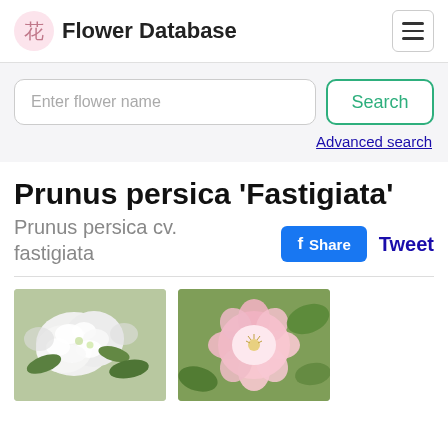花 Flower Database
Enter flower name
Search
Advanced search
Prunus persica 'Fastigiata'
Prunus persica cv. fastigiata
Share  Tweet
[Figure (photo): White double-petaled flowers of Prunus persica Fastigiata]
[Figure (photo): Pink semi-double flowers of Prunus persica Fastigiata]